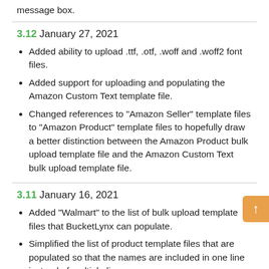message box.
3.12 January 27, 2021
Added ability to upload .ttf, .otf, .woff and .woff2 font files.
Added support for uploading and populating the Amazon Custom Text template file.
Changed references to "Amazon Seller" template files to "Amazon Product" template files to hopefully draw a better distinction between the Amazon Product bulk upload template file and the Amazon Custom Text bulk upload template file.
3.11 January 16, 2021
Added "Walmart" to the list of bulk upload template files that BucketLynx can populate.
Simplified the list of product template files that are populated so that the names are included in one line instead of multiple lines.